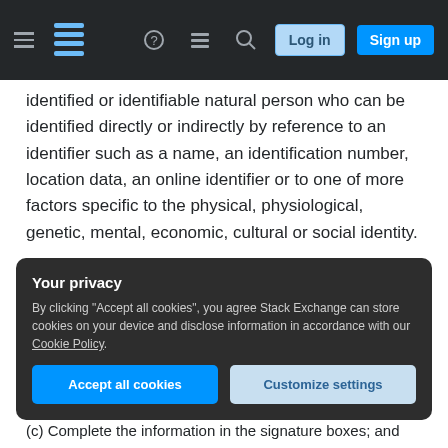Stack Exchange navigation bar with hamburger menu, logo, help, chat, search icons, Log in and Sign up buttons
identified or identifiable natural person who can be identified directly or indirectly by reference to an identifier such as a name, an identification number, location data, an online identifier or to one of more factors specific to the physical, physiological, genetic, mental, economic, cultural or social identity.
HOW TO EXECUTE THIS DPA
1. This DPA has been pre-signed on behalf of Stack Exchange, Inc., as the data importer.
Your privacy
By clicking "Accept all cookies", you agree Stack Exchange can store cookies on your device and disclose information in accordance with our Cookie Policy.
Accept all cookies   Customize settings
(c) Complete the information in the signature boxes; and